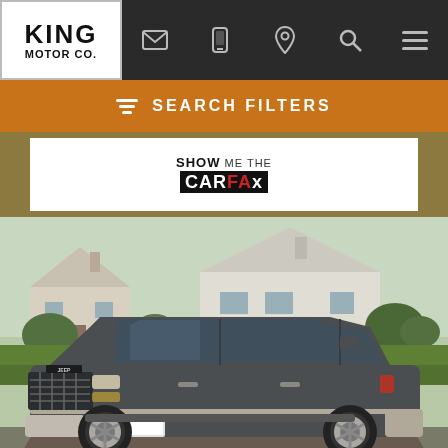KING MOTOR CO. — Navigation header with logo and icons
SEARCH FILTERS
[Figure (logo): Show Me The CARFAX badge logo]
[Figure (photo): Dark gray Jeep Grand Cherokee Summit SUV parked on a driveway in front of suburban houses with green lawn and trees]